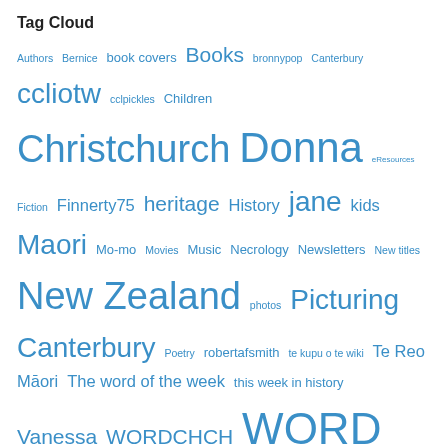Tag Cloud
Authors Bernice book covers Books bronnypop Canterbury ccliotw cclpickles Children Christchurch Donna eResources Fiction Finnerty75 heritage History jane kids Maori Mo-mo Movies Music Necrology Newsletters New titles New Zealand photos Picturing Canterbury Poetry robertafsmith te kupu o te wiki Te Reo Māori The word of the week this week in history Vanessa WORDCHCH WORD Christchurch WORD Christchurch Writers and Readers Festival Writers Zac
Archives